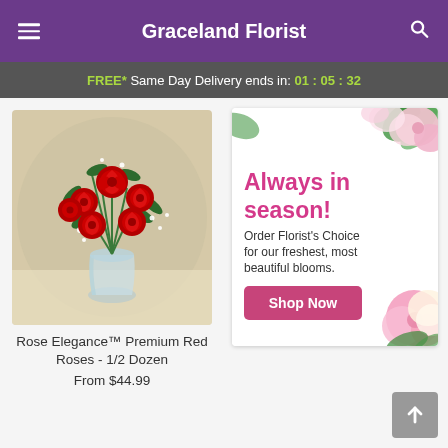Graceland Florist
FREE* Same Day Delivery ends in: 01 : 05 : 32
[Figure (photo): Red roses bouquet in a glass vase with baby's breath and green foliage]
Rose Elegance™ Premium Red Roses - 1/2 Dozen
From $44.99
[Figure (infographic): Advertisement banner with pink and white flowers - Always in season! Order Florist's Choice for our freshest, most beautiful blooms. Shop Now button.]